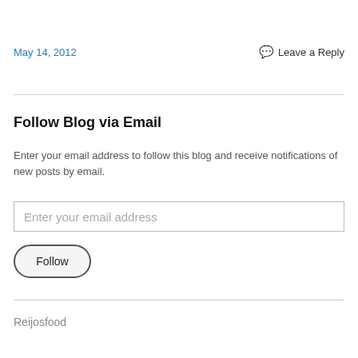May 14, 2012
Leave a Reply
Follow Blog via Email
Enter your email address to follow this blog and receive notifications of new posts by email.
Enter your email address
Follow
Reijosfood